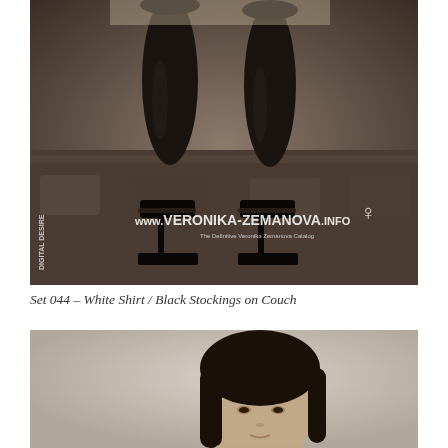[Figure (photo): Black and white / sepia toned photo showing legs in black stockings and high heels seated on a couch. Watermark text: DIGITAL DESIRE (vertical on left side) and www.VERONIKA-ZEMANOVA.INFO with small figure logo on right side.]
Set 044 – White Shirt / Black Stockings on Couch
[Figure (photo): Black and white / sepia toned photo showing a woman with long dark hair looking at the camera, cropped at the top of the page image showing face and upper body.]